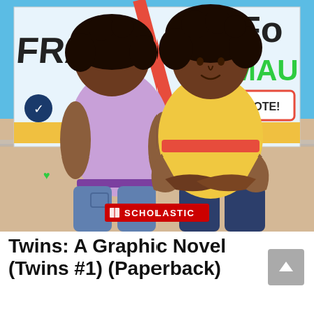[Figure (illustration): Book cover of 'Twins: A Graphic Novel' published by Scholastic. Two dark-skinned girls stand back-to-back. The left girl wears a lavender/pink t-shirt and blue jeans; the right girl wears a yellow t-shirt with a red stripe and dark jeans. Both have curly/afro hair. In the background are colorful posters including text 'FRAN', 'FO', 'MAU', and a 'VOTE!' speech bubble sign. A red Scholastic logo appears near the bottom center of the image.]
Twins: A Graphic Novel (Twins #1) (Paperback)